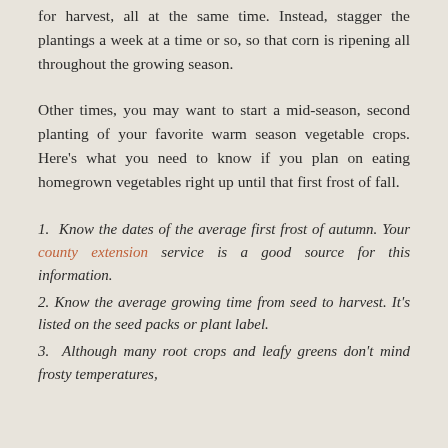for harvest, all at the same time. Instead, stagger the plantings a week at a time or so, so that corn is ripening all throughout the growing season.
Other times, you may want to start a mid-season, second planting of your favorite warm season vegetable crops. Here's what you need to know if you plan on eating homegrown vegetables right up until that first frost of fall.
1. Know the dates of the average first frost of autumn. Your county extension service is a good source for this information.
2. Know the average growing time from seed to harvest. It's listed on the seed packs or plant label.
3. Although many root crops and leafy greens don't mind frosty temperatures,